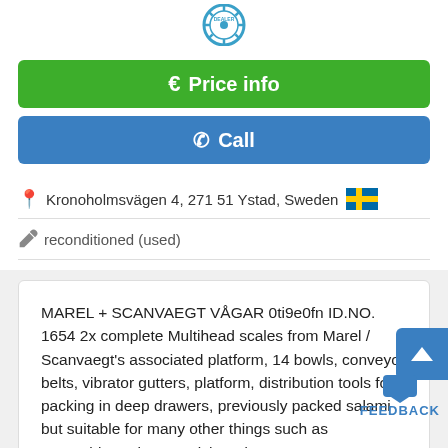[Figure (logo): Dealer badge/seal logo at top]
€ Price info
✆ Call
Kronoholmsvägen 4, 271 51 Ystad, Sweden 🇸🇪
reconditioned (used)
MAREL + SCANVAEGT VÅGAR 0ti9e0fn ID.NO. 1654 2x complete Multihead scales from Marel / Scanvaegt's associated platform, 14 bowls, conveyor belts, vibrator gutters, platform, distribution tools for packing in deep drawers, previously packed salami but suitable for many other things such as Vegetables, Cheese, Fish and more.